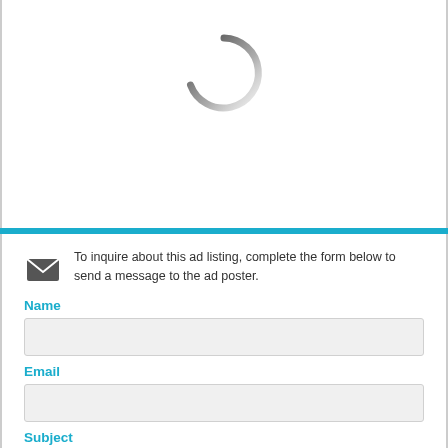[Figure (illustration): A loading spinner (arc shape, dark gray fading to light gray) centered in the upper white section of the page.]
To inquire about this ad listing, complete the form below to send a message to the ad poster.
Name
Email
Subject